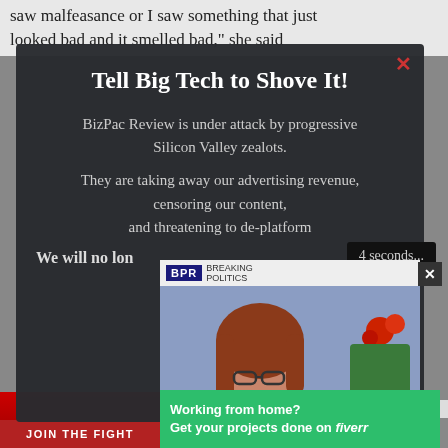saw malfeasance or I saw something that just looked bad and it smelled bad," she said
Tell Big Tech to Shove It!
BizPac Review is under attack by progressive Silicon Valley zealots.
They are taking away our advertising revenue, censoring our content, and threatening to de-platform
We will no lon...
Support o...
4 seconds...
[Figure (screenshot): Video overlay showing a woman with red hair and glasses, BPR logo at top, courtesy text on left side]
ADVERTISEMENT
Working from home? Get your projects done on fiverr
JOIN THE FIGHT